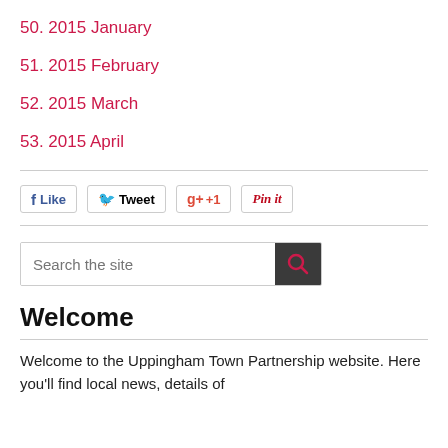50. 2015 January
51. 2015 February
52. 2015 March
53. 2015 April
[Figure (infographic): Social sharing buttons: Like (Facebook), Tweet (Twitter), +1 (Google Plus), Pin it (Pinterest)]
[Figure (infographic): Search box with text 'Search the site' and a dark search button with magnifying glass icon]
Welcome
Welcome to the Uppingham Town Partnership website. Here you'll find local news, details of